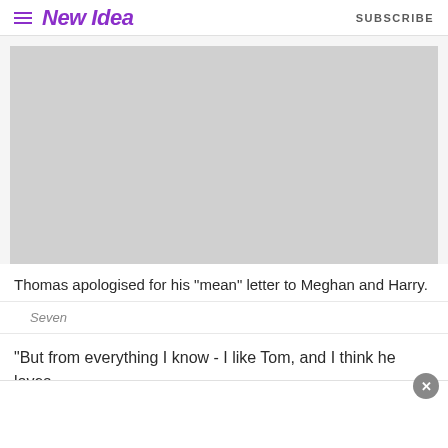New Idea | SUBSCRIBE
[Figure (photo): A placeholder image (grey rectangle) showing no visible content]
Thomas apologised for his "mean" letter to Meghan and Harry.
Seven
“But from everything I know - I like Tom, and I think he loves